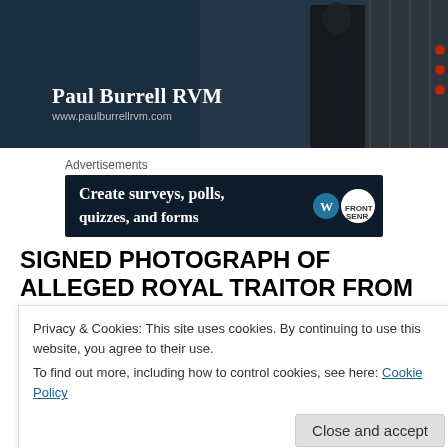[Figure (photo): Photo of Paul Burrell RVM with dark background, showing a person in a dark suit, with overlay text 'Paul Burrell RVM' and website 'www.paulburrellrvm.com']
Advertisements
[Figure (screenshot): Advertisement banner with dark blue background reading 'Create surveys, polls, quizzes, and forms' with WordPress and FrontSeat icons]
SIGNED PHOTOGRAPH OF ALLEGED ROYAL TRAITOR FROM WITHIN LADY DIANA'S ROYAL HOUSEHOLD
Privacy & Cookies: This site uses cookies. By continuing to use this website, you agree to their use.
To find out more, including how to control cookies, see here: Cookie Policy
Close and accept
PERSISTANTLY ALLEGED FORMER LOVER OF LADY